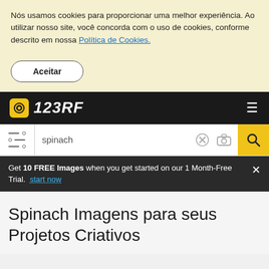Nós usamos cookies para proporcionar uma melhor experiência. Ao utilizar nosso site, você concorda com o uso de cookies, conforme descrito em nossa Política de Cookies.
Aceitar
[Figure (logo): 123RF logo with camera icon on dark navigation bar]
[Figure (screenshot): Search bar with filter icon, 'spinach' query text, clear (X) button, camera icon, and yellow search button]
Get 10 FREE Images when you get started on our 1 Month-Free Trial. start now
Spinach Imagens para seus Projetos Criativos